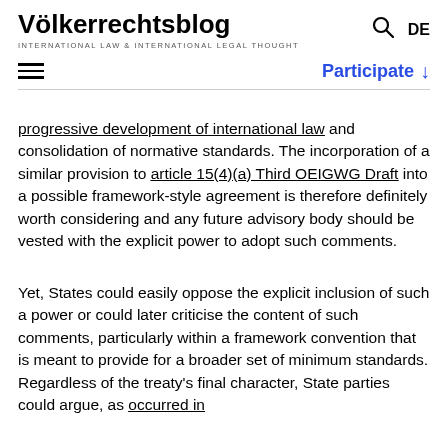Völkerrechtsblog — INTERNATIONAL LAW & INTERNATIONAL LEGAL THOUGHT
progressive development of international law and consolidation of normative standards. The incorporation of a similar provision to article 15(4)(a) Third OEIGWG Draft into a possible framework-style agreement is therefore definitely worth considering and any future advisory body should be vested with the explicit power to adopt such comments.
Yet, States could easily oppose the explicit inclusion of such a power or could later criticise the content of such comments, particularly within a framework convention that is meant to provide for a broader set of minimum standards. Regardless of the treaty's final character, State parties could argue, as occurred in